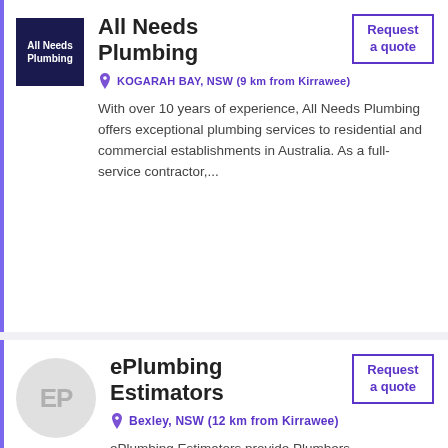[Figure (logo): All Needs Plumbing logo - dark navy blue square with white text reading 'All Needs Plumbing']
All Needs Plumbing
KOGARAH BAY, NSW (9 km from Kirrawee)
With over 10 years of experience, All Needs Plumbing offers exceptional plumbing services to residential and commercial establishments in Australia. As a full-service contractor,...
[Figure (logo): ePlumbing Estimators logo - light grey circle with letters EP in grey]
ePlumbing Estimators
Bexley, NSW (12 km from Kirrawee)
ePlumbing Estimators provide Plumbers